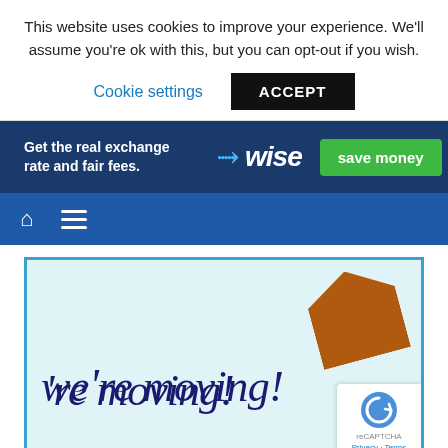This website uses cookies to improve your experience. We'll assume you're ok with this, but you can opt-out if you wish.
Cookie settings   ACCEPT
[Figure (infographic): Wise advertisement banner: dark blue background with text 'Get the real exchange rate and fair fees.' Wise logo with lightning bolt arrow. Green 'save money' button.]
[Figure (infographic): Dark blue navigation bar with home icon and hamburger menu icon.]
[Figure (illustration): Light blue illustration with cursive text 'we're moving!' in dark navy, brown envelope shape in top right, and Google reCAPTCHA badge in bottom right with 'Privacy - Terms' text.]